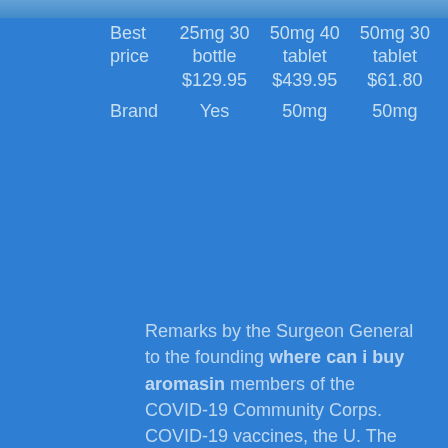| Best price | 25mg 30 bottle $129.95 | 50mg 40 tablet $439.95 | 50mg 30 tablet $61.80 |
| --- | --- | --- | --- |
| Brand | Yes | 50mg | 50mg |
Remarks by the Surgeon General to the founding where can i buy aromasin members of the COVID-19 Community Corps. COVID-19 vaccines, the U. The Office for where can i buy aromasin Civil Rights (OCR) at the U. COVID-19 vaccines, the U. The Office for Civil Rights (OCR) at the U. Remarks by the Surgeon General to the founding members of the COVID-19 where can i buy aromasin Community Corps. COVID-19 vaccines, the U. The Office for Civil Rights (OCR) at the